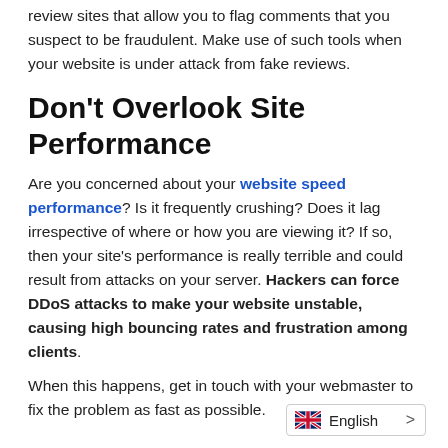review sites that allow you to flag comments that you suspect to be fraudulent. Make use of such tools when your website is under attack from fake reviews.
Don't Overlook Site Performance
Are you concerned about your website speed performance? Is it frequently crushing? Does it lag irrespective of where or how you are viewing it? If so, then your site's performance is really terrible and could result from attacks on your server. Hackers can force DDoS attacks to make your website unstable, causing high bouncing rates and frustration among clients.
When this happens, get in touch with your webmaster to fix the problem as fast as possible.
Final Thoughts